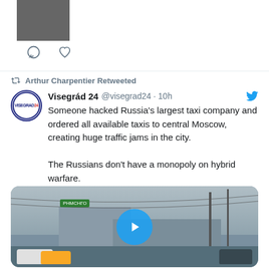[Figure (screenshot): Top portion of a previous tweet showing a profile image and like/comment icons]
Arthur Charpentier Retweeted
Visegrád 24 @visegrad24 · 10h
Someone hacked Russia's largest taxi company and ordered all available taxis to central Moscow, creating huge traffic jams in the city.

The Russians don't have a monopoly on hybrid warfare.
[Figure (photo): Video thumbnail showing Moscow street traffic with cars and a large building with Cyrillic signage, overcast sky, with a blue play button overlay]